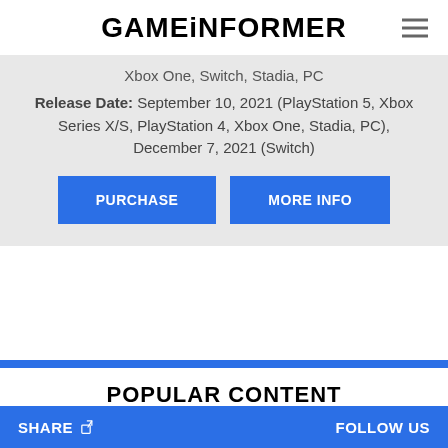GAMEINFORMER
Xbox One, Switch, Stadia, PC
Release Date: September 10, 2021 (PlayStation 5, Xbox Series X/S, PlayStation 4, Xbox One, Stadia, PC), December 7, 2021 (Switch)
PURCHASE
MORE INFO
POPULAR CONTENT
NEWS
SHARE   FOLLOW US